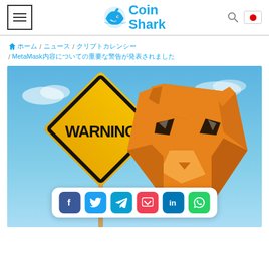Coin Shark — navigation header with menu, logo, search, and flag
🏠 ホーム / ニュース / クリプトカレンシー / MetaMaskについての重要な警告が発表されました
[Figure (illustration): Warning sign and MetaMask fox logo on a blue sky background with social sharing icons bar (Facebook, Twitter, Telegram, Pocket, LinkedIn, WhatsApp)]